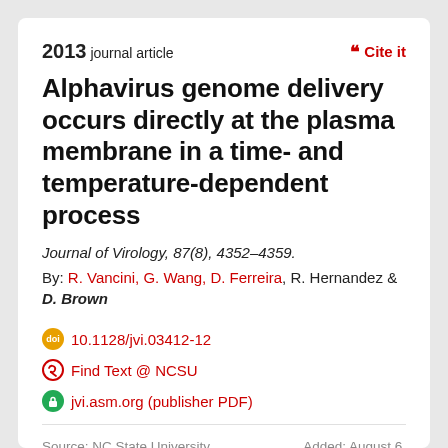2013 journal article
Cite it
Alphavirus genome delivery occurs directly at the plasma membrane in a time- and temperature-dependent process
Journal of Virology, 87(8), 4352–4359.
By: R. Vancini, G. Wang, D. Ferreira, R. Hernandez & D. Brown
10.1128/jvi.03412-12
Find Text @ NCSU
jvi.asm.org (publisher PDF)
Source: NC State University Libraries
Added: August 6, 2018